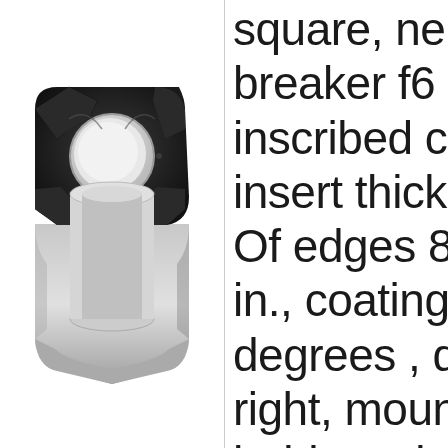[Figure (photo): A square carbide cutting insert with a central hole, black top face with chip breaker geometry, and metallic silver sides. The insert has chamfered corners and a polished circular bore.]
square, ne breaker f6 inscribed c insert thick Of edges 8 in., coating degrees , d right, moun held, work steel, cast